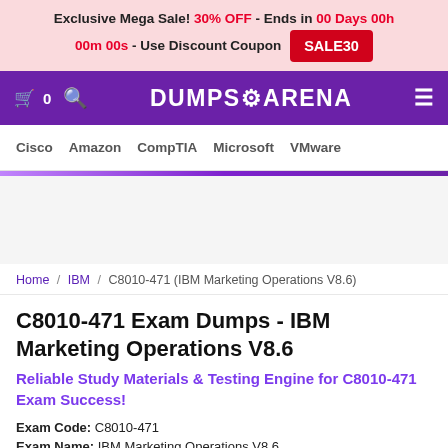Exclusive Mega Sale! 30% OFF - Ends in 00 Days 00h 00m 00s - Use Discount Coupon SALE30
DUMPS ARENA — navigation bar with Cisco, Amazon, CompTIA, Microsoft, VMware
Home / IBM / C8010-471 (IBM Marketing Operations V8.6)
C8010-471 Exam Dumps - IBM Marketing Operations V8.6
Reliable Study Materials & Testing Engine for C8010-471 Exam Success!
Exam Code: C8010-471
Exam Name: IBM Marketing Operations V8.6
Certification Provider: IBM